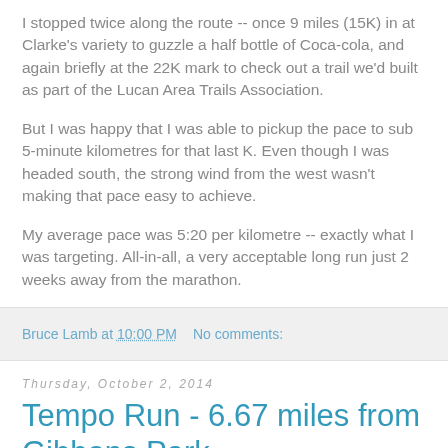I stopped twice along the route -- once 9 miles (15K) in at Clarke's variety to guzzle a half bottle of Coca-cola, and again briefly at the 22K mark to check out a trail we'd built as part of the Lucan Area Trails Association.
But I was happy that I was able to pickup the pace to sub 5-minute kilometres for that last K. Even though I was headed south, the strong wind from the west wasn't making that pace easy to achieve.
My average pace was 5:20 per kilometre -- exactly what I was targeting. All-in-all, a very acceptable long run just 2 weeks away from the marathon.
Bruce Lamb at 10:00 PM   No comments:
Thursday, October 2, 2014
Tempo Run - 6.67 miles from Gibbons Park